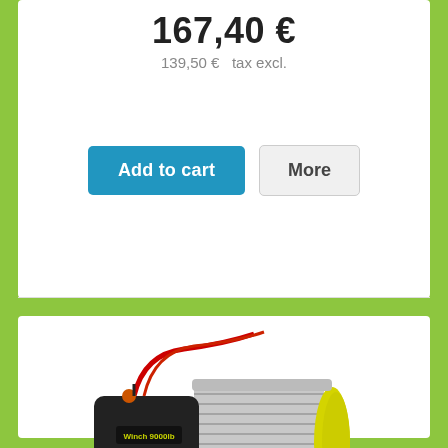167,40 €
139,50 €   tax excl.
Add to cart
More
[Figure (photo): Electric winch 1.5T product photo showing a black electric winch with steel cable, red wires, yellow end cap, hook, and a remote control handset. Winch brand label reads 'Winch 9000lb'.]
Treuil électrique 1,5 T